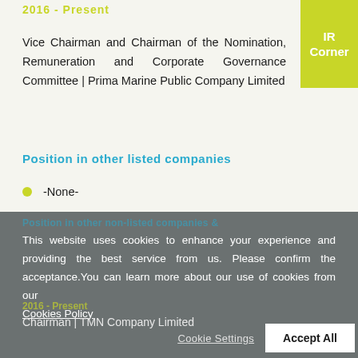2016 - Present
Vice Chairman and Chairman of the Nomination, Remuneration and Corporate Governance Committee | Prima Marine Public Company Limited
Position in other listed companies
-None-
This website uses cookies to enhance your experience and providing the best service from us. Please confirm the acceptance.You can learn more about our use of cookies from our Cookies Policy
Chairman | TMN Company Limited